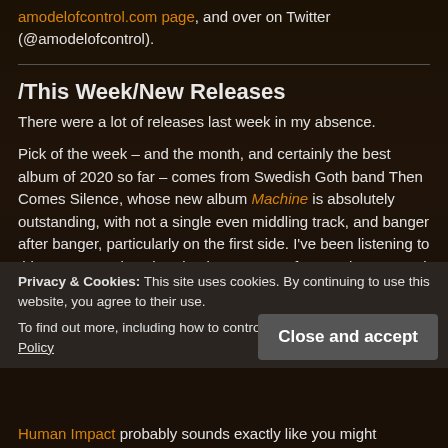amodelofcontrol.com page, and over on Twitter (@amodelofcontrol).
/This Week/New Releases
There were a lot of releases last week in my absence.
Pick of the week – and the month, and certainly the best album of 2020 so far – comes from Swedish Goth band Then Comes Silence, whose new album Machine is absolutely outstanding, with not a single even middling track, and banger after banger, particularly on the first side. I’ve been listening to this on repeat since it arrived on promo a few weeks ago, and I will be still for a while yet, too.
There were other great albums released last week
Privacy & Cookies: This site uses cookies. By continuing to use this website, you agree to their use.
To find out more, including how to control cookies, see here: Cookie Policy
Close and accept
Human Impact probably sounds exactly like you might